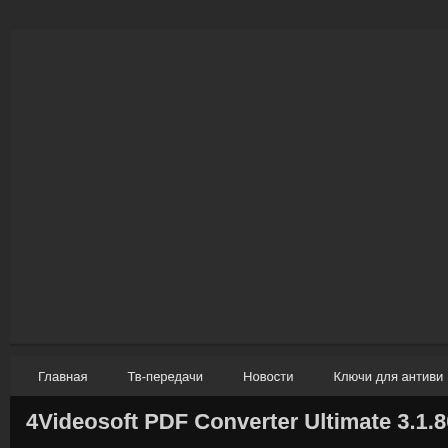Главная
Тв-передачи
Новости
Ключи для антиви
4Videosoft PDF Converter Ultimate 3.1.80